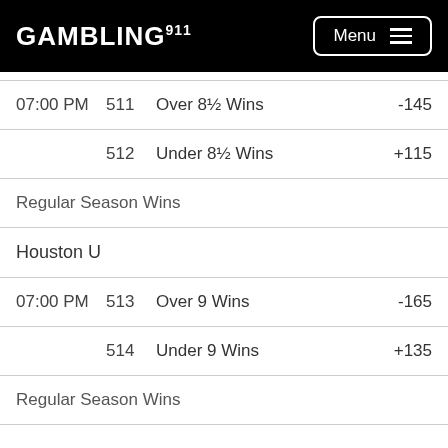GAMBLING911 Menu
| Time | ID | Description | Odds |
| --- | --- | --- | --- |
| 07:00 PM | 511 | Over 8½ Wins | -145 |
|  | 512 | Under 8½ Wins | +115 |
Regular Season Wins
Houston U
| Time | ID | Description | Odds |
| --- | --- | --- | --- |
| 07:00 PM | 513 | Over 9 Wins | -165 |
|  | 514 | Under 9 Wins | +135 |
Regular Season Wins